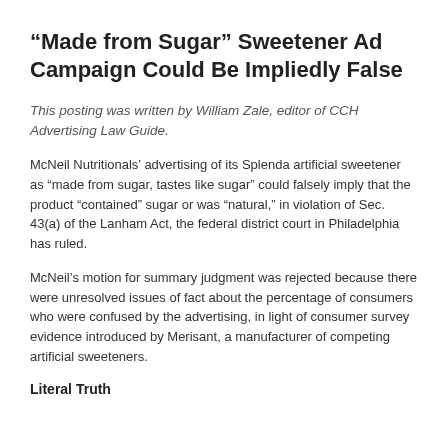“Made from Sugar” Sweetener Ad Campaign Could Be Impliedly False
This posting was written by William Zale, editor of CCH Advertising Law Guide.
McNeil Nutritionals’ advertising of its Splenda artificial sweetener as “made from sugar, tastes like sugar” could falsely imply that the product “contained” sugar or was “natural,” in violation of Sec. 43(a) of the Lanham Act, the federal district court in Philadelphia has ruled.
McNeil’s motion for summary judgment was rejected because there were unresolved issues of fact about the percentage of consumers who were confused by the advertising, in light of consumer survey evidence introduced by Merisant, a manufacturer of competing artificial sweeteners.
Literal Truth